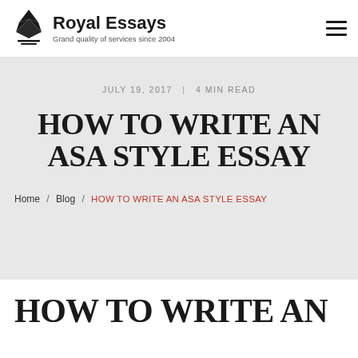Royal Essays — Grand quality of services since 2004
JULY 19, 2017 | 4 MIN READ
HOW TO WRITE AN ASA STYLE ESSAY
Home / Blog / HOW TO WRITE AN ASA STYLE ESSAY
HOW TO WRITE AN